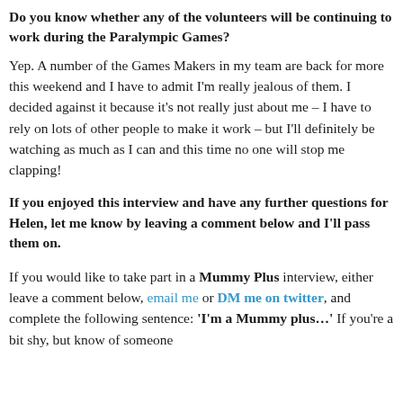Do you know whether any of the volunteers will be continuing to work during the Paralympic Games?
Yep. A number of the Games Makers in my team are back for more this weekend and I have to admit I'm really jealous of them. I decided against it because it's not really just about me – I have to rely on lots of other people to make it work – but I'll definitely be watching as much as I can and this time no one will stop me clapping!
If you enjoyed this interview and have any further questions for Helen, let me know by leaving a comment below and I'll pass them on.
If you would like to take part in a Mummy Plus interview, either leave a comment below, email me or DM me on twitter, and complete the following sentence: 'I'm a Mummy plus...' If you're a bit shy, but know of someone